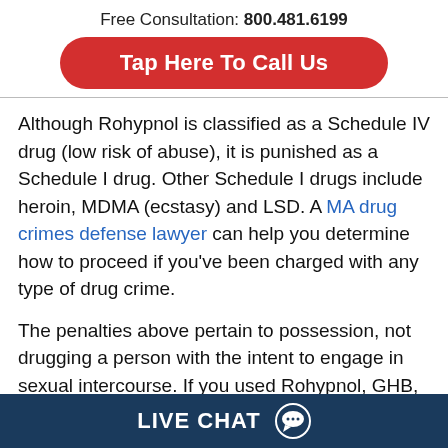Free Consultation: 800.481.6199
[Figure (other): Red rounded button with white text: Tap Here To Call Us]
Although Rohypnol is classified as a Schedule IV drug (low risk of abuse), it is punished as a Schedule I drug. Other Schedule I drugs include heroin, MDMA (ecstasy) and LSD. A MA drug crimes defense lawyer can help you determine how to proceed if you’ve been charged with any type of drug crime.
The penalties above pertain to possession, not drugging a person with the intent to engage in sexual intercourse. If you used Rohypnol, GHB, Ketamine or any other drug to sexually assault
LIVE CHAT